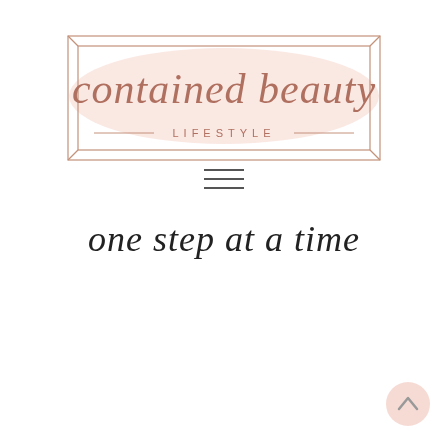[Figure (logo): Contained Beauty Lifestyle logo: cursive rose-gold script text 'contained beauty' with 'LIFESTYLE' in small caps below, framed by a double rectangle border with a pink watercolor wash background.]
[Figure (other): Hamburger menu icon with three horizontal lines.]
one step at a time
[Figure (other): Circular scroll-to-top button with upward arrow, pink background, bottom-right corner.]